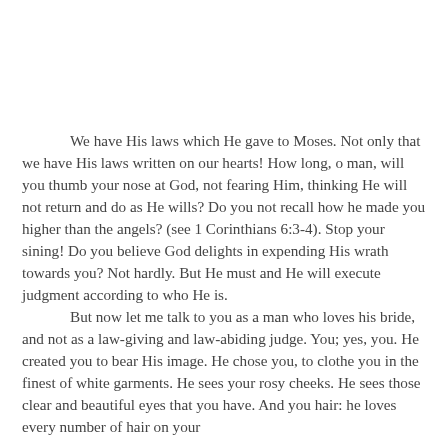We have His laws which He gave to Moses. Not only that we have His laws written on our hearts! How long, o man, will you thumb your nose at God, not fearing Him, thinking He will not return and do as He wills? Do you not recall how he made you higher than the angels? (see 1 Corinthians 6:3-4). Stop your sining! Do you believe God delights in expending His wrath towards you? Not hardly. But He must and He will execute judgment according to who He is.
But now let me talk to you as a man who loves his bride, and not as a law-giving and law-abiding judge. You; yes, you. He created you to bear His image. He chose you, to clothe you in the finest of white garments. He sees your rosy cheeks. He sees those clear and beautiful eyes that you have. And you hair: he loves every number of hair on your